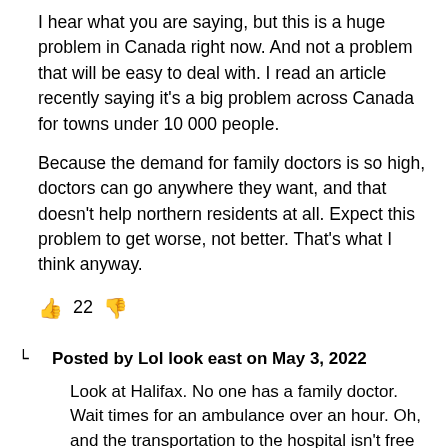I hear what you are saying, but this is a huge problem in Canada right now. And not a problem that will be easy to deal with. I read an article recently saying it's a big problem across Canada for towns under 10 000 people.

Because the demand for family doctors is so high, doctors can go anywhere they want, and that doesn't help northern residents at all. Expect this problem to get worse, not better. That's what I think anyway.
👍 22 👎
Posted by Lol look east on May 3, 2022
Look at Halifax. No one has a family doctor. Wait times for an ambulance over an hour. Oh, and the transportation to the hospital isn't free like it is for Inuit as they receive NIHB. People often travel